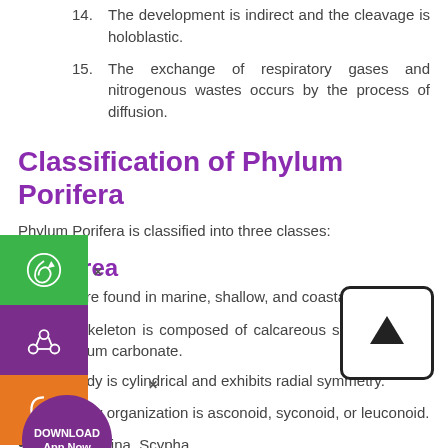14. The development is indirect and the cleavage is holoblastic.
15. The exchange of respiratory gases and nitrogenous wastes occurs by the process of diffusion.
Classification of Phylum Porifera
Phylum Porifera is classified into three classes:
Calcarea
They are found in marine, shallow, and coastal water.
Their skeleton is composed of calcareous spicules made of calcium carbonate.
The body is cylindrical and exhibits radial symmetry.
The body organization is asconoid, syconoid, or leuconoid.
Eg., Clathrina, Scypha
Hexactinellids